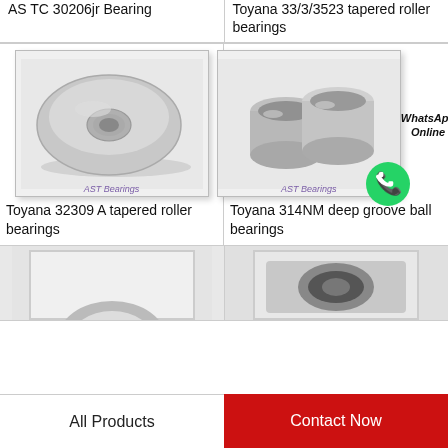AS TC 30206Jr Bearing
Toyana 33/3/3523 tapered roller bearings
[Figure (photo): Toyana 32309 A tapered roller bearing washer/thrust bearing photo with AST Bearings watermark]
[Figure (photo): Toyana 314NM deep groove ball bearing cylindrical sleeves photo with AST Bearings watermark and WhatsApp Online contact icon]
Toyana 32309 A tapered roller bearings
Toyana 314NM deep groove ball bearings
[Figure (photo): Partial bearing product photo (bottom left), cropped]
[Figure (photo): Partial bearing product photo (bottom right), cropped]
All Products
Contact Now